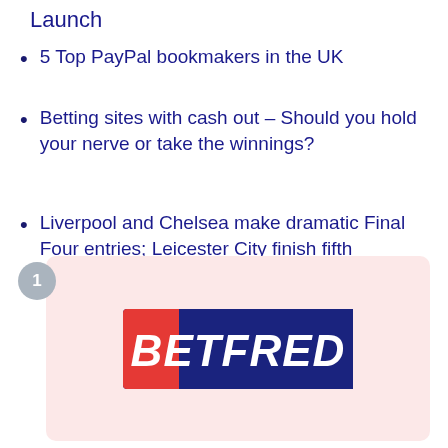Launch
5 Top PayPal bookmakers in the UK
Betting sites with cash out – Should you hold your nerve or take the winnings?
Liverpool and Chelsea make dramatic Final Four entries; Leicester City finish fifth
[Figure (logo): Betfred logo on a pink/light-red card with a number 1 badge]